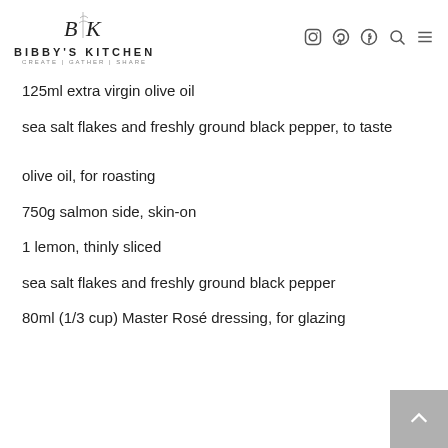BIBBY'S KITCHEN | CREATE | GATHER | SHARE
125ml extra virgin olive oil
sea salt flakes and freshly ground black pepper, to taste
olive oil, for roasting
750g salmon side, skin-on
1 lemon, thinly sliced
sea salt flakes and freshly ground black pepper
80ml (1/3 cup) Master Rosé dressing, for glazing